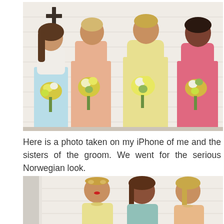[Figure (photo): Four young women standing against a white wooden wall, dressed as bridesmaids in colorful dresses (light blue/white, peach, yellow, pink/coral), each holding flower bouquets with yellow and white flowers. A dark cross is visible in the upper left background.]
Here is a photo taken on my iPhone of me and the sisters of the groom. We went for the serious Norwegian look.
[Figure (photo): Three women seated together against a white wooden wall, wearing bridesmaid dresses (yellow, light blue/teal, peach). All have serious/stern expressions. The woman on the left wears a floral crown headband with red lips.]